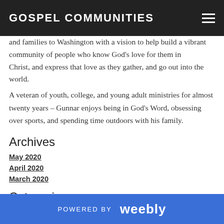GOSPEL COMMUNITIES
and families to Washington with a vision to help build a vibrant
community of people who know God's love for them in
Christ, and express that love as they gather, and go out into the world.
A veteran of youth, college, and young adult ministries for almost
twenty years – Gunnar enjoys being in God's Word, obsessing over
sports, and spending time outdoors with his family.
Archives
May 2020
April 2020
March 2020
Categories
All
RSS Feed
[Figure (other): PayPal Donate button (yellow pill shape) and payment card icons: Visa, Mastercard, Maestro, American Express, Discover, JCB]
POWERED BY weebly